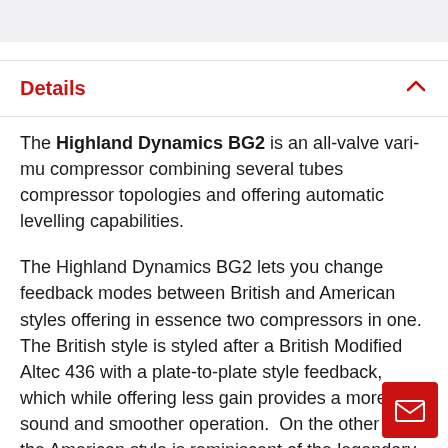Details
The Highland Dynamics BG2 is an all-valve vari-mu compressor combining several tubes compressor topologies and offering automatic levelling capabilities.
The Highland Dynamics BG2 lets you change feedback modes between British and American styles offering in essence two compressors in one. The British style is styled after a British Modified Altec 436 with a plate-to-plate style feedback, which while offering less gain provides a more hi-fi sound and smoother operation.  On the other hand the American style is reminiscent of the legendary